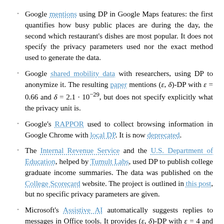Google mentions using DP in Google Maps features: the first quantifies how busy public places are during the day, the second which restaurant's dishes are most popular. It does not specify the privacy parameters used nor the exact method used to generate the data.
Google shared mobility data with researchers, using DP to anonymize it. The resulting paper mentions (ε, δ)-DP with ε = 0.66 and δ = 2.1 · 10^−29, but does not specify explicitly what the privacy unit is.
Google's RAPPOR used to collect browsing information in Google Chrome with local DP. It is now deprecated.
The Internal Revenue Service and the U.S. Department of Education, helped by Tumult Labs, used DP to publish college graduate income summaries. The data was published on the College Scorecard website. The project is outlined in this post, but no specific privacy parameters are given.
Microsoft's Assistive AI automatically suggests replies to messages in Office tools. It provides (ε, δ)-DP with ε = 4 and δ < 10^−7, but does not specify what the privacy unit is.